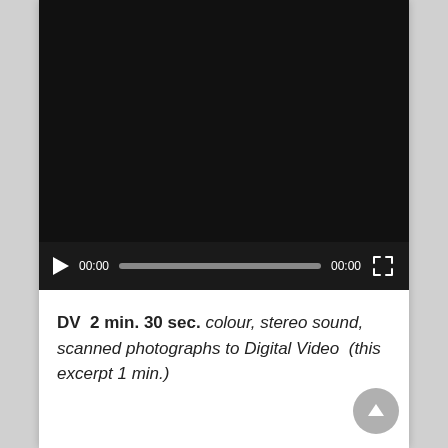[Figure (screenshot): Video player with black screen and playback controls showing play button, 00:00 timestamp, progress bar, 00:00 end time, and fullscreen button]
DV  2 min. 30 sec. colour, stereo sound, scanned photographs to Digital Video  (this excerpt 1 min.)